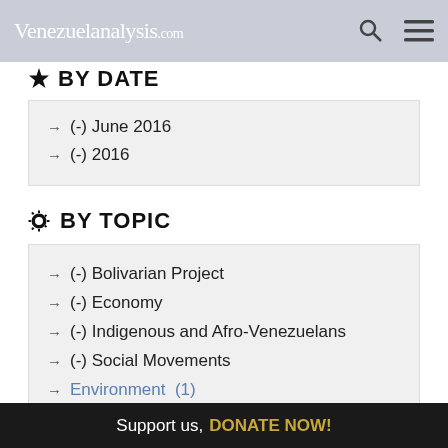Venezuelanalysis.com
BY DATE
→ (-) June 2016
→ (-) 2016
BY TOPIC
→ (-) Bolivarian Project
→ (-) Economy
→ (-) Indigenous and Afro-Venezuelans
→ (-) Social Movements
→ Environment (1)
Support us, DONATE NOW!